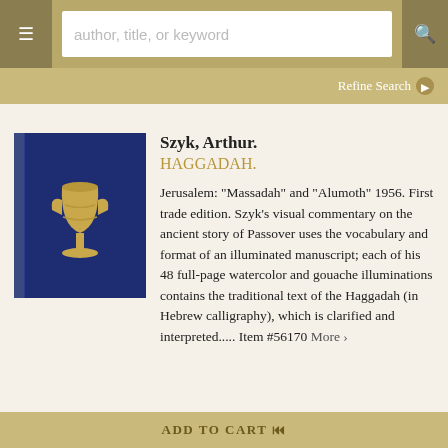author, title, or keyword
Refine Search
[Figure (photo): Blue hardcover book with gold emblem on cover, standing upright]
Szyk, Arthur.
HAGGADAH.
Jerusalem: "Massadah" and "Alumoth" 1956. First trade edition. Szyk's visual commentary on the ancient story of Passover uses the vocabulary and format of an illuminated manuscript; each of his 48 full-page watercolor and gouache illuminations contains the traditional text of the Haggadah (in Hebrew calligraphy), which is clarified and interpreted..... Item #56170 More >
ADD TO CART